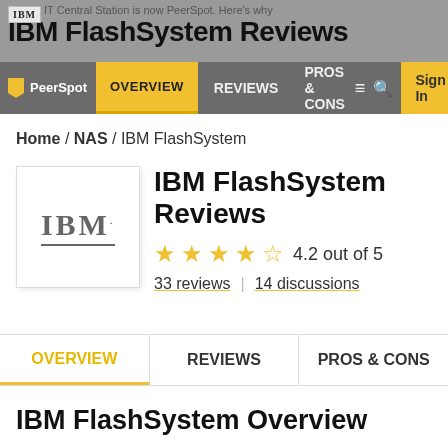IBM FlashSystem Reviews
IT Central Station is now PeerSpot. Here's why
PeerSpot OVERVIEW | REVIEWS | PROS & CONS | Sign In
Home / NAS / IBM FlashSystem
IBM FlashSystem Reviews
4.2 out of 5
33 reviews | 14 discussions
OVERVIEW | REVIEWS | PROS & CONS
IBM FlashSystem Overview